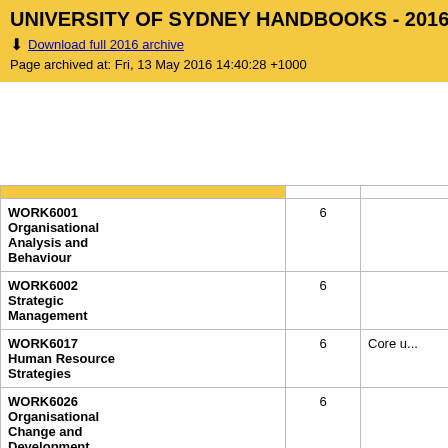UNIVERSITY OF SYDNEY HANDBOOKS - 2016
Download full 2016 archive
Page archived at: Fri, 13 May 2016 14:40:28 +1000
| Unit | CP | Note |
| --- | --- | --- |
| WORK6001 Organisational Analysis and Behaviour | 6 |  |
| WORK6002 Strategic Management | 6 |  |
| WORK6017 Human Resource Strategies | 6 | Core u... |
| WORK6026 Organisational Change and Development
This unit of study is not available in 2016 | 6 |  |
| WORK6030 Performance and Rewards | 6 |  |